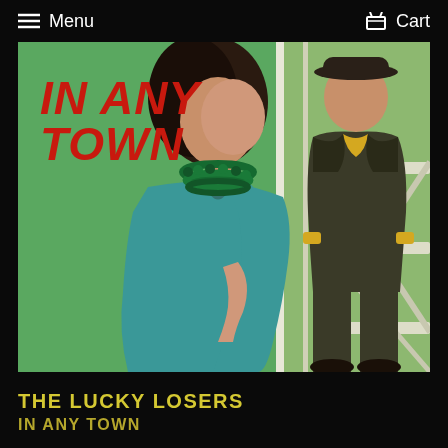Menu   Cart
[Figure (photo): Album cover for 'In Any Town' by The Lucky Losers. A woman in a teal/turquoise dress wearing green beads leans on a white railing looking to the left. A man in a dark olive suit with yellow shirt stands on the right side. Green background. Red italic bold text reads 'IN ANY TOWN' in upper left corner.]
THE LUCKY LOSERS
IN ANY TOWN